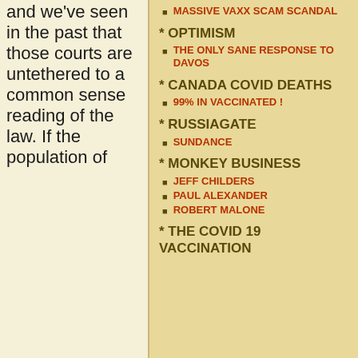and we've seen in the past that those courts are untethered to a common sense reading of the law. If the population of
MASSIVE VAXX SCAM SCANDAL
* OPTIMISM
THE ONLY SANE RESPONSE TO DAVOS
* CANADA COVID DEATHS
99% IN VACCINATED !
* RUSSIAGATE
SUNDANCE
* MONKEY BUSINESS
JEFF CHILDERS
PAUL ALEXANDER
ROBERT MALONE
* THE COVID 19 VACCINATION